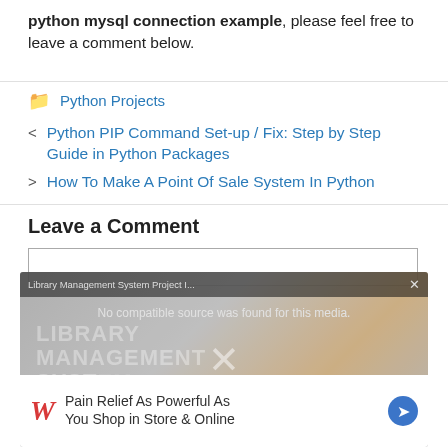python mysql connection example, please feel free to leave a comment below.
Python Projects
< Python PIP Command Set-up / Fix: Step by Step Guide in Python Packages
> How To Make A Point Of Sale System In Python
Leave a Comment
[Figure (screenshot): Video overlay showing Library Management System project thumbnail with a 'No compatible source was found for this media.' message, overlaid by a Walgreens advertisement: 'Pain Relief As Powerful As You Shop in Store & Online']